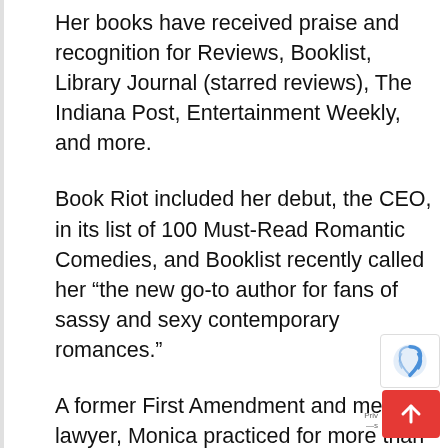Her books have received praise and recognition for Reviews, Booklist, Library Journal (starred reviews), The Indiana Post, Entertainment Weekly, and more.
Book Riot included her debut, the CEO, in its list of 100 Must-Read Romantic Comedies, and Booklist recently called her “the new go-to author for fans of sassy and sexy contemporary romances.”
A former First Amendment and media lawyer, Monica practiced for more than a decade before trading her suits for loungewear (okay, okay, they’re sweatpants). Now she strives to write fun and flirty stories about imperfect characters finding their perfect match.
Monica Lozano lives in New York with her husband, their two Son, and an adorable Cat that finally sleeps through the night.